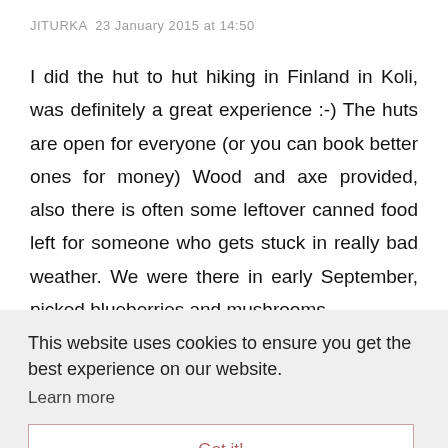JITURKA  23 January 2015 at 14:50
I did the hut to hut hiking in Finland in Koli, was definitely a great experience :-) The huts are open for everyone (or you can book better ones for money) Wood and axe provided, also there is often some leftover canned food left for someone who gets stuck in really bad weather. We were there in early September, picked blueberries and mushrooms
han we
l, which
This website uses cookies to ensure you get the best experience on our website.
Learn more
Got it!